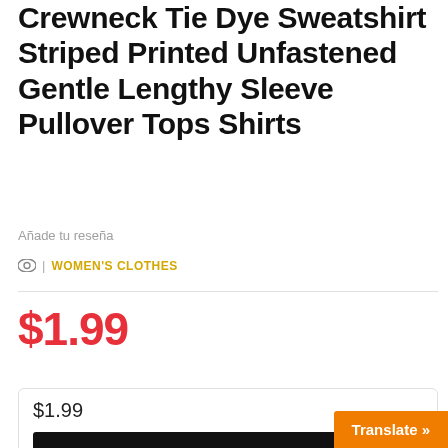Crewneck Tie Dye Sweatshirt Striped Printed Unfastened Gentle Lengthy Sleeve Pullover Tops Shirts
Añade tu reseña
| WOMEN'S CLOTHES
$1.99
$1.99
SEE IN AMAZON
Translate »